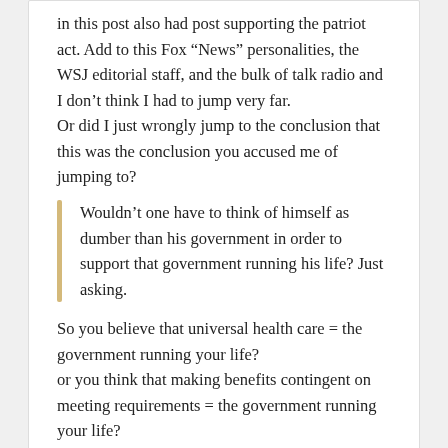in this post also had post supporting the patriot act. Add to this Fox “News” personalities, the WSJ editorial staff, and the bulk of talk radio and I don’t think I had to jump very far.
Or did I just wrongly jump to the conclusion that this was the conclusion you accused me of jumping to?
Wouldn’t one have to think of himself as dumber than his government in order to support that government running his life? Just asking.
So you believe that universal health care = the government running your life?
or you think that making benefits contingent on meeting requirements = the government running your life?
[Figure (illustration): Red thumbs up icon]
flank